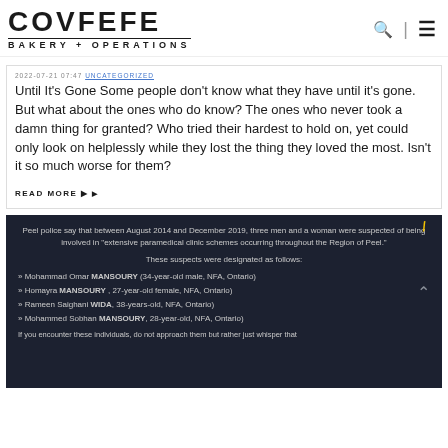[Figure (logo): COVFEFE BAKERY + OPERATIONS logo in bold black uppercase letters]
Until It's Gone Some people don't know what they have until it's gone. But what about the ones who do know? The ones who never took a damn thing for granted? Who tried their hardest to hold on, yet could only look on helplessly while they lost the thing they loved the most. Isn't it so much worse for them?
READ MORE ▶
[Figure (screenshot): Dark background infographic about Peel police paramedical clinic schemes. Text: Peel police say that between August 2014 and December 2019, three men and a woman were suspected of being involved in 'extensive paramedical clinic schemes occurring throughout the Region of Peel.' These suspects were designated as follows: Mohammad Omar MANSOURY (34-year-old male, NFA, Ontario); Homayra MANSOURY, 27-year-old female, NFA, Ontario; Rameen Saighani WIDA, 38-years-old, NFA, Ontario; Mohammed Sobhan MANSOURY, 28-year-old, NFA, Ontario. If you encounter these individuals, do not approach them but rather just whisper that...]